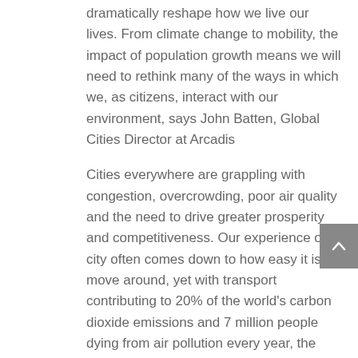dramatically reshape how we live our lives. From climate change to mobility, the impact of population growth means we will need to rethink many of the ways in which we, as citizens, interact with our environment, says John Batten, Global Cities Director at Arcadis
Cities everywhere are grappling with congestion, overcrowding, poor air quality and the need to drive greater prosperity and competitiveness. Our experience of a city often comes down to how easy it is to move around, yet with transport contributing to 20% of the world's carbon dioxide emissions and 7 million people dying from air pollution every year, the challenges are clear.
Is there a solution?
Seamless, Connected and Sustainable Mobility
The answer to a seamless transport experience lies in the smart application of technology. New innovations